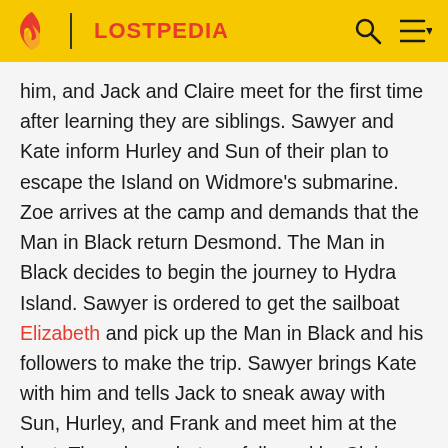LOSTPEDIA
him, and Jack and Claire meet for the first time after learning they are siblings. Sawyer and Kate inform Hurley and Sun of their plan to escape the Island on Widmore's submarine. Zoe arrives at the camp and demands that the Man in Black return Desmond. The Man in Black decides to begin the journey to Hydra Island. Sawyer is ordered to get the sailboat Elizabeth and pick up the Man in Black and his followers to make the trip. Sawyer brings Kate with him and tells Jack to sneak away with Sun, Hurley, and Frank and meet him at the boat. They do so, but are followed by Claire. She joins them on the Elizabeth as they betray the Man in Black and head to Hydra Island without him. On board, Jack decides to abandon the group and jump overboard. The group reaches Hydra Island where they are found by Zoe and...